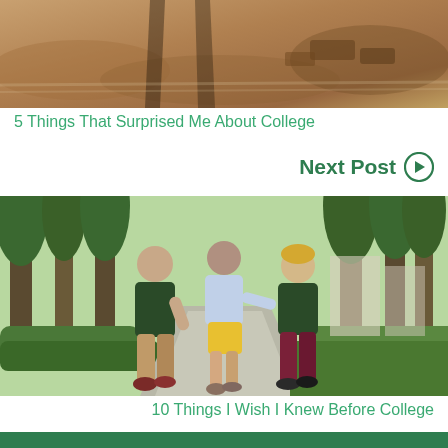[Figure (photo): Top photo showing an outdoor campus area with stone walkway and wooden/metal sculpture elements, warm earthy tones]
5 Things That Surprised Me About College
Next Post ➔
[Figure (photo): Three college students walking together on a palm tree-lined campus path. Two men in dark green university t-shirts flank a woman in a light blue top and yellow shorts.]
10 Things I Wish I Knew Before College